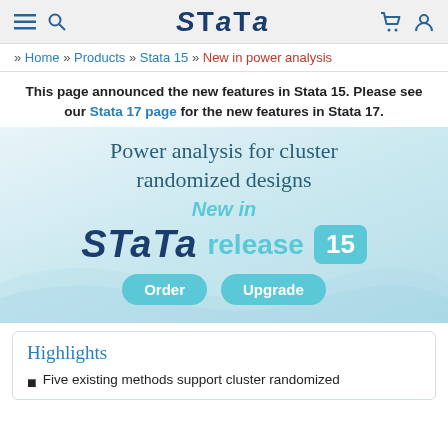Stata — navigation bar with hamburger menu, search, cart, user icons
» Home » Products » Stata 15 » New in power analysis
This page announced the new features in Stata 15. Please see our Stata 17 page for the new features in Stata 17.
[Figure (other): Stata release 15 promotional banner with 'Power analysis for cluster randomized designs', 'New in Stata release 15' text, Order and Upgrade buttons on light blue wave background]
Highlights
Five existing methods support cluster randomized